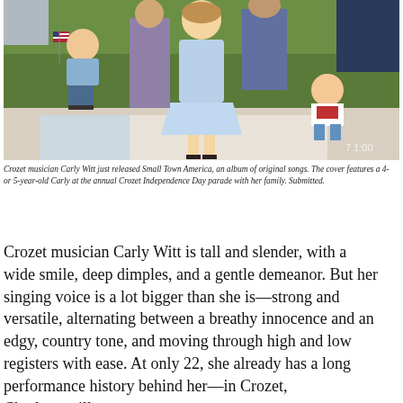[Figure (photo): Outdoor photo of children and adults at what appears to be a Fourth of July gathering. A girl in a light blue dress stands in the foreground on a blanket, a child holds a small American flag on the left, a baby in red-and-white sits on the right, with adults partially visible and trees in the background.]
Crozet musician Carly Witt just released Small Town America, an album of original songs. The cover features a 4- or 5-year-old Carly at the annual Crozet Independence Day parade with her family. Submitted.
Crozet musician Carly Witt is tall and slender, with a wide smile, deep dimples, and a gentle demeanor. But her singing voice is a lot bigger than she is—strong and versatile, alternating between a breathy innocence and an edgy, country tone, and moving through high and low registers with ease. At only 22, she already has a long performance history behind her—in Crozet, Charlottesville,